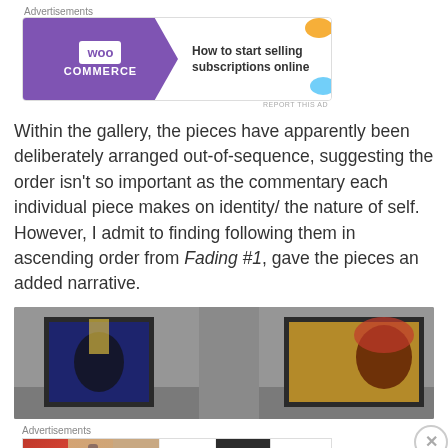[Figure (screenshot): WooCommerce advertisement banner: 'How to start selling subscriptions online']
Within the gallery, the pieces have apparently been deliberately arranged out-of-sequence, suggesting the order isn't so important as the commentary each individual piece makes on identity/ the nature of self. However, I admit to finding following them in ascending order from Fading #1, gave the pieces an added narrative.
[Figure (photo): Gallery interior showing artworks with portrait photographs displayed on walls, featuring colorful artistic images]
[Figure (screenshot): Ulta Beauty advertisement banner with makeup/beauty images and 'SHOP NOW' call to action]